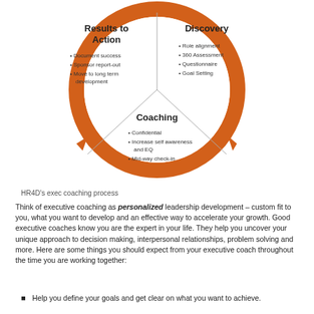[Figure (flowchart): Circular coaching process diagram with three segments: 'Results to Action' (top-left, with bullet points: Document success, Sponsor report-out, Move to long term development), 'Discovery' (top-right, with bullet points: Role alignment, 360 Assessment, Questionnaire, Goal Setting), and 'Coaching' (bottom-center, with bullet points: Confidential, Increase self awareness and EQ, Mid-way check-in). Orange circular arrow connects all three sections clockwise.]
HR4D’s exec coaching process
Think of executive coaching as personalized leadership development – custom fit to you, what you want to develop and an effective way to accelerate your growth.  Good executive coaches know you are the expert in your life.  They help you uncover your unique approach to decision making, interpersonal relationships, problem solving and more.  Here are some things you should expect from your executive coach throughout the time you are working together:
Help you define your goals and get clear on what you want to achieve.